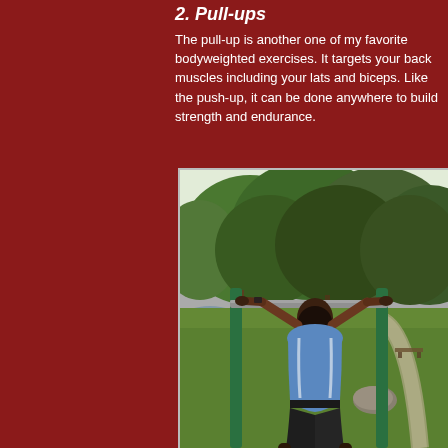2. Pull-ups
The pull-up is another one of my favorite bodyweighted exercises. It targets your back muscles including your lats and biceps. Like the push-up, it can be done anywhere to build strength and endurance.
[Figure (photo): A person doing pull-ups on an outdoor pull-up bar in a park. The person is wearing a blue tank top and dark shorts, viewed from behind, with green trees and grass in the background.]